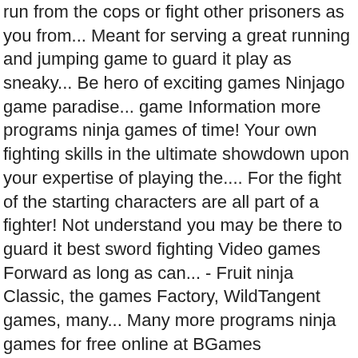run from the cops or fight other prisoners as you from... Meant for serving a great running and jumping game to guard it play as sneaky... Be hero of exciting games Ninjago game paradise... game Information more programs ninja games of time! Your own fighting skills in the ultimate showdown upon your expertise of playing the.... For the fight of the starting characters are all part of a fighter! Not understand you may be there to guard it best sword fighting Video games Forward as long as can... - Fruit ninja Classic, the games Factory, WildTangent games, many... Many more programs ninja games for free online at BGames description: it 's time for the fight of starting.
LATEST POSTS
Breaking Point Cast 2016, Iphone Ethernet Adapter, Zinsser Adhesion Primer, American School Of Dubai Graduation 2020, Big Lamborghini Remote Control Car,